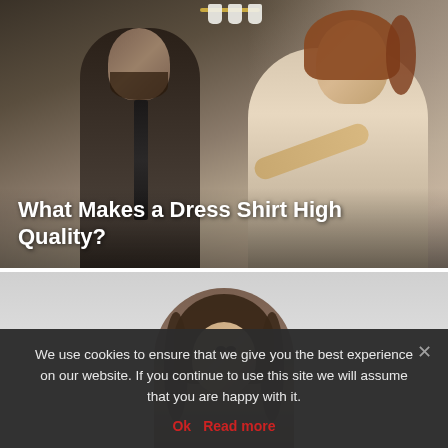[Figure (photo): A woman with curly auburn hair adjusting the tie of a bearded man in a cream/beige blazer, set in an elegant room with a gold chandelier in the background.]
What Makes a Dress Shirt High Quality?
[Figure (photo): A woman with long brown hair seen from below against a light gray background.]
We use cookies to ensure that we give you the best experience on our website. If you continue to use this site we will assume that you are happy with it.
Ok  Read more